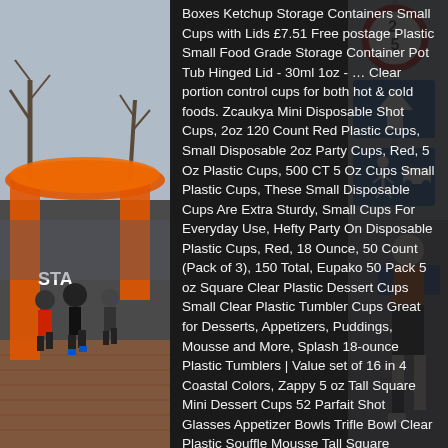[Figure (photo): Left side: outdoor photo of marathon runners at a start line with an orange arch/inflatable, brick pavement, bare trees in background. Right side: street sign scene with a round red-bordered speed/restriction sign showing '2,5', a blue directional arrow sign, and a blue pedestrian crossing sign.]
Boxes Ketchup Storage Containers Small Cups with Lids £7.51 Free postage Plastic Small Food Grade Storage Container Pot Tub Hinged Lid - 30ml 1oz - … Clear portion control cups for both hot & cold foods. Zcaukya Mini Disposable Shot Cups, 2oz 120 Count Red Plastic Cups, Small Disposable 2oz Party Cups, Red, 5 Oz Plastic Cups, 500 CT 5 Oz Cups Small Plastic Cups, These Small Disposable Cups Are Extra Sturdy, Small Cups For Everyday Use, Hefty Party On Disposable Plastic Cups, Red, 18 Ounce, 50 Count (Pack of 3), 150 Total, Eupako 50 Pack 5 oz Square Clear Plastic Dessert Cups Small Clear Plastic Tumbler Cups Great for Desserts, Appetizers, Puddings, Mousse and More, Splash 18-ounce Plastic Tumblers | Value set of 16 in 4 Coastal Colors, Zappy 5 oz Tall Square Mini Dessert Cups 52 Parfait Shot Glasses Appetizer Bowls Trifle Bowl Clear Plastic Souffle Mousse Tall Square Shooter Dessert Tumbler Cups Tasting Party Cup 5oz Plastic Cups, TashiBox